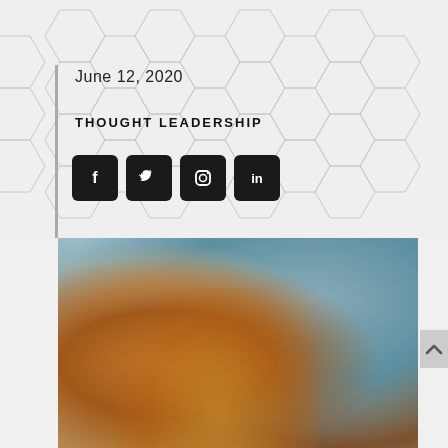June 12, 2020
THOUGHT LEADERSHIP
[Figure (infographic): Social media share icons: Facebook, Twitter, Instagram, LinkedIn — dark rounded square buttons]
[Figure (photo): Photo of an iced tea drink in a glass with a green straw and lemon slice garnish, on a bar counter with a smartphone visible, blurred bar background]